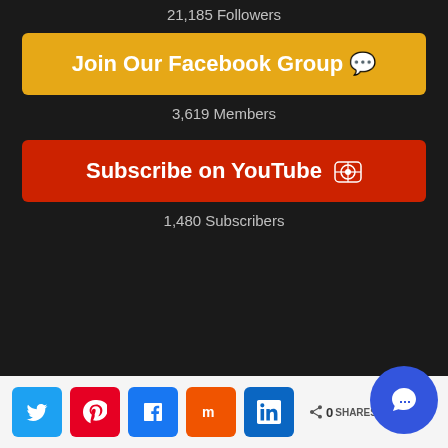21,185 Followers
Join Our Facebook Group 💬
3,619 Members
Subscribe on YouTube 📷
1,480 Subscribers
Social share bar with Twitter, Pinterest, Facebook, Mix, LinkedIn buttons and 0 SHARES